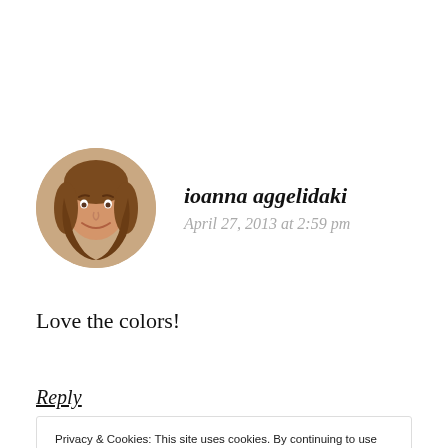[Figure (photo): Round avatar photo of a woman with shoulder-length wavy hair, smiling]
ioanna aggelidaki
April 27, 2013 at 2:59 pm
Love the colors!
Reply
Privacy & Cookies: This site uses cookies. By continuing to use this website, you agree to their use.
To find out more, including how to control cookies, see here: Cookie Policy